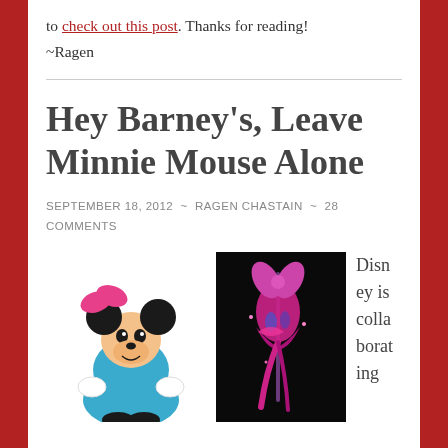to check out this post.  Thanks for reading!
~Ragen
Hey Barney's, Leave Minnie Mouse Alone
SEPTEMBER 18, 2012  ~  RAGEN CHASTAIN  ~  28 COMMENTS
[Figure (photo): Cartoon image of Minnie Mouse in a blue outfit with pink bow]
[Figure (photo): Photo of a stylized Minnie Mouse costume/mannequin figure on a dark background]
Disney is collaborating